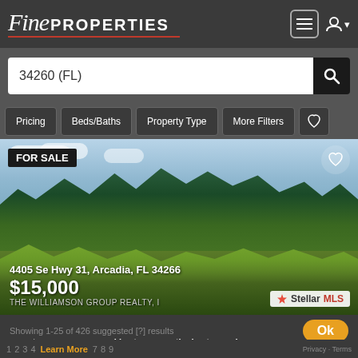Fine PROPERTIES
34260 (FL)
Pricing  Beds/Baths  Property Type  More Filters
[Figure (photo): Outdoor landscape photo showing trees with green foliage under a partly cloudy sky, property at 4405 Se Hwy 31, Arcadia, FL 34266, listed FOR SALE at $15,000 by THE WILLIAMSON GROUP REALTY, with Stellar MLS badge]
Showing 1-25 of 426 suggested [?] results
manateem.com uses cookies to ensure the best experience
Learn More
1  2  3  4  Learn More  7  8  9  Privacy - Terms